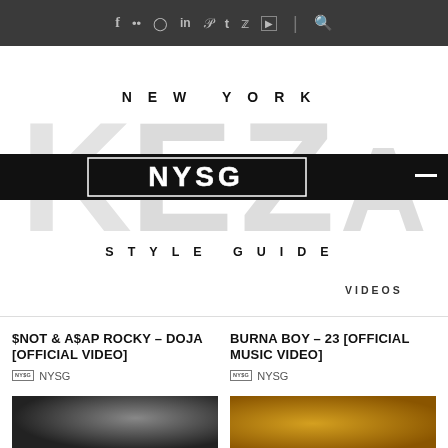Social nav icons: f, flickr, instagram, in, pinterest, tumblr, twitter, youtube | search
[Figure (logo): New York Style Guide graffiti logo with NYSG text on black bar, 'NEW YORK' and 'STYLE GUIDE' lettering, VIDEOS label]
$NOT & A$AP ROCKY – DOJA [OFFICIAL VIDEO]
NYSG  NYSG
BURNA BOY – 23 [OFFICIAL MUSIC VIDEO]
NYSG  NYSG
[Figure (photo): Dark thumbnail for $NOT & A$AP ROCKY video]
[Figure (photo): Golden/warm thumbnail for BURNA BOY video]